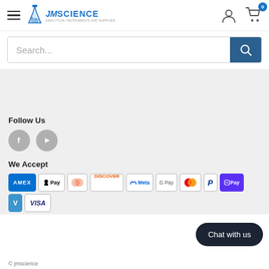[Figure (logo): JM Science logo with flask icon and tagline 'Analytical Instruments and Supplies']
Search...
Follow Us
[Figure (illustration): Social media icons: Facebook (f) and YouTube (play button) as gray circles]
We Accept
[Figure (illustration): Payment method badges: AMEX, Apple Pay, Diners Club, Discover, Meta, Google Pay, Mastercard, PayPal, Shop Pay, Venmo, Visa]
Chat with us
© jmscience